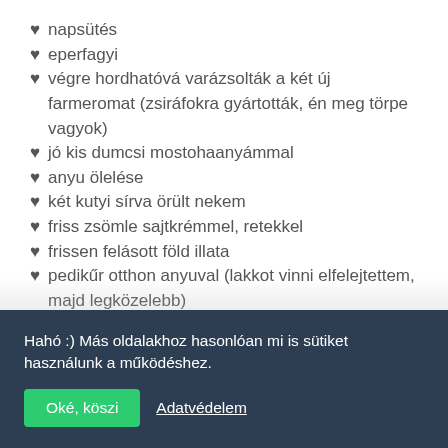♥ napsütés
♥ eperfagyi
♥ végre hordhatóvá varázsolták a két új farmeromat (zsiráfokra gyártották, én meg törpe vagyok)
♥ jó kis dumcsi mostohaanyámmal
♥ anyu ölelése
♥ két kutyi sírva örült nekem
♥ friss zsömle sajtkrémmel, retekkel
♥ frissen felásott föld illata
♥ pedikűr otthon anyuval (lakkot vinni elfelejtettem, majd legközelebb)
Hahó :) Más oldalakhoz hasonlóan mi is sütiket használunk a működéshez.
Oké, köszi  Adatvédelem